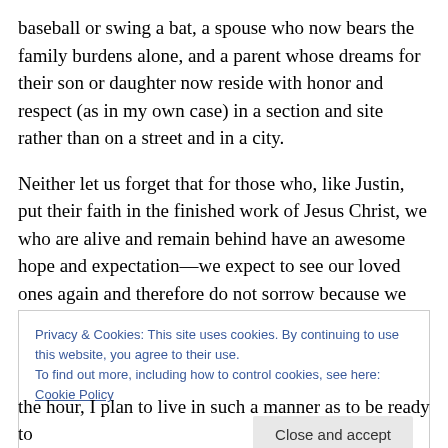baseball or swing a bat, a spouse who now bears the family burdens alone, and a parent whose dreams for their son or daughter now reside with honor and respect (as in my own case) in a section and site rather than on a street and in a city.
Neither let us forget that for those who, like Justin, put their faith in the finished work of Jesus Christ, we who are alive and remain behind have an awesome hope and expectation—we expect to see our loved ones again and therefore do not sorrow because we lack hope.
Privacy & Cookies: This site uses cookies. By continuing to use this website, you agree to their use. To find out more, including how to control cookies, see here: Cookie Policy
Close and accept
the hour, I plan to live in such a manner as to be ready to